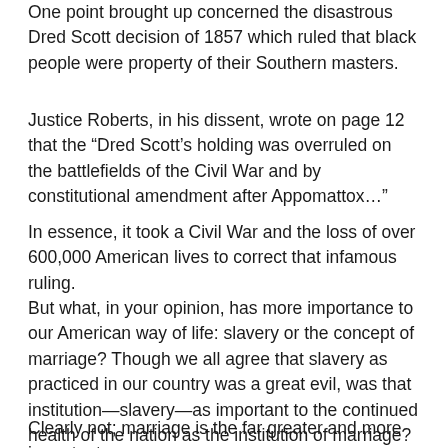One point brought up concerned the disastrous Dred Scott decision of 1857 which ruled that black people were property of their Southern masters.
Justice Roberts, in his dissent, wrote on page 12 that the “Dred Scott’s holding was overruled on the battlefields of the Civil War and by constitutional amendment after Appomattox…”
In essence, it took a Civil War and the loss of over 600,000 American lives to correct that infamous ruling.
But what, in your opinion, has more importance to our American way of life: slavery or the concept of marriage? Though we all agree that slavery as practiced in our country was a great evil, was that institution—slavery—as important to the continued health of the nation as the institution of marriage?
Clearly not; marriage is the far greater and more important